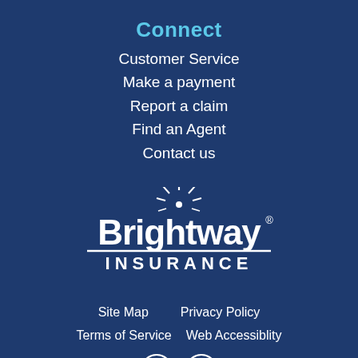Connect
Customer Service
Make a payment
Report a claim
Find an Agent
Contact us
[Figure (logo): Brightway Insurance logo — white starburst icon above white bold text 'Brightway' with registered trademark symbol, and 'INSURANCE' in spaced white capitals below, on dark navy blue background]
Site Map
Privacy Policy
Terms of Service
Web Accessiblity
[Figure (other): Facebook and LinkedIn social media icons in white circle outlines]